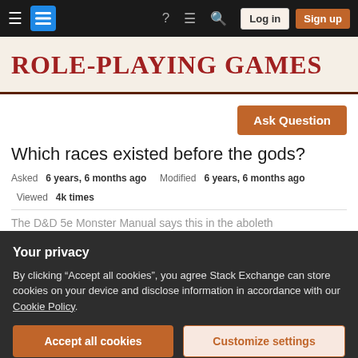Role-playing Games Stack Exchange — Navigation bar with Log in and Sign up buttons
Role-playing Games
Ask Question
Which races existed before the gods?
Asked 6 years, 6 months ago   Modified 6 years, 6 months ago   Viewed 4k times
The D&D 5e Monster Manual says this in the aboleth
Your privacy
By clicking "Accept all cookies", you agree Stack Exchange can store cookies on your device and disclose information in accordance with our Cookie Policy.
Accept all cookies   Customize settings
minds and seized control of the burgeoning